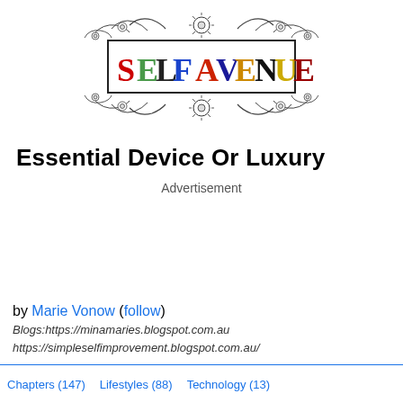[Figure (logo): Self Avenue decorative logo with ornate flourishes and colorful lettering spelling SELF AVENUE in a bordered rectangle]
Essential Device Or Luxury
Advertisement
by Marie Vonow (follow)
Blogs:https://minamaries.blogspot.com.au
https://simpleselfimprovement.blogspot.com.au/
Chapters (147)  Lifestyles (88)  Technology (13)